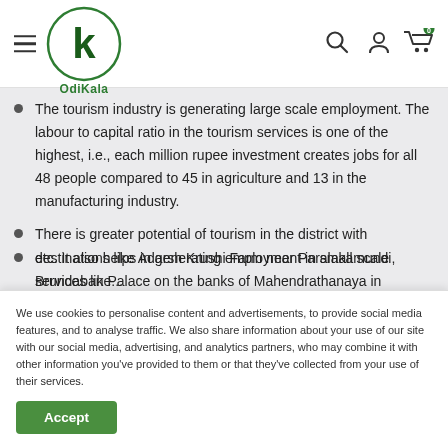OdiKala
The tourism industry is generating large scale employment. The labour to capital ratio in the tourism services is one of the highest, i.e., each million rupee investment creates jobs for all 48 people compared to 45 in agriculture and 13 in the manufacturing industry.
There is greater potential of tourism in the district with destinations like Adarsh Krushi Farm near Paralakamundi, Brundaban Palace on the banks of Mahendrathanaya in Paralakamundi, Serango, the Kashmir of Gajapati, a resort located near Gumma, Gandahati
etc. It also helps in generating employment in small scale services like...
We use cookies to personalise content and advertisements, to provide social media features, and to analyse traffic. We also share information about your use of our site with our social media, advertising, and analytics partners, who may combine it with other information you've provided to them or that they've collected from your use of their services.